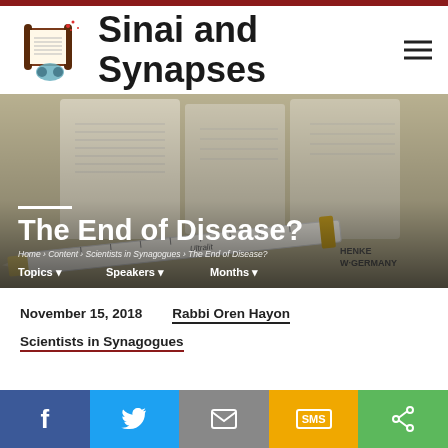Sinai and Synapses
[Figure (photo): Close-up photo of a medical syringe (Henke W-Germany brand) with vials/bottles in the background showing printed labels]
The End of Disease?
Home > Content > Scientists in Synagogues > The End of Disease?
Topics  Speakers  Months
November 15, 2018
Rabbi Oren Hayon
Scientists in Synagogues